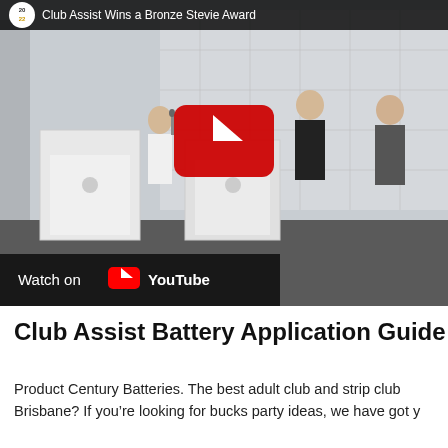[Figure (screenshot): YouTube video thumbnail showing an awards ceremony on stage. Two white podiums are visible on the left side, with a woman speaking at one and a man in a suit receiving an award from another man on the right. The backdrop has sponsor logos. A red YouTube play button overlay is centered on the image. A dark bar at the top reads '2022 - Club Assist Wins a Bronze Stevie Award'. A 'Watch on YouTube' bar with the YouTube logo appears at the bottom left.]
Club Assist Battery Application Guide
Product Century Batteries. The best adult club and strip club Brisbane? If you’re looking for bucks party ideas, we have got y